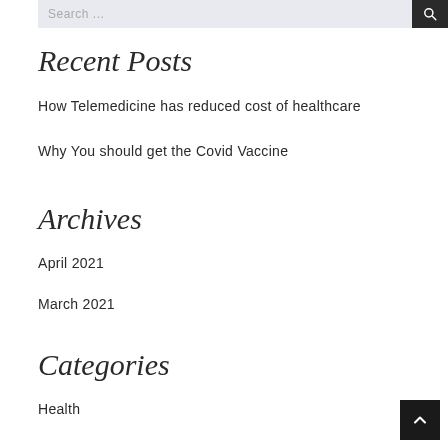Search ...
Recent Posts
How Telemedicine has reduced cost of healthcare
Why You should get the Covid Vaccine
Archives
April 2021
March 2021
Categories
Health